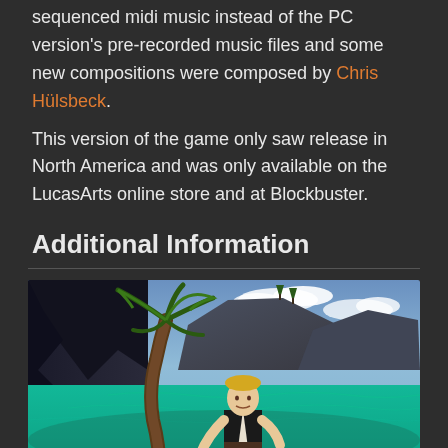sequenced midi music instead of the PC version's pre-recorded music files and some new compositions were composed by Chris Hülsbeck.
This version of the game only saw release in North America and was only available on the LucasArts online store and at Blockbuster.
Additional Information
[Figure (screenshot): 3D video game screenshot showing a pirate character with a sword standing on a beach with palm trees, rocky cliffs, and turquoise water in the background. The character has blonde hair, a vest, white shirt, and red pants.]